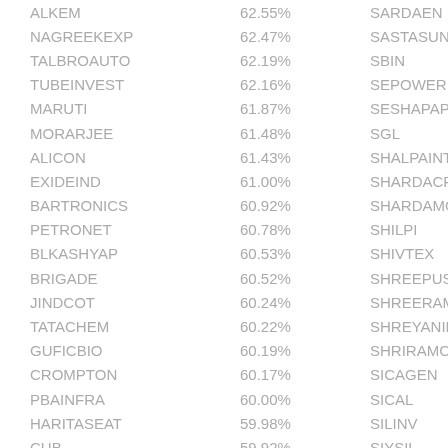| Name | Percentage | Name2 |
| --- | --- | --- |
| ALKEM | 62.55% | SARDAEN |
| NAGREEKEXP | 62.47% | SASTASUNDR |
| TALBROAUTO | 62.19% | SBIN |
| TUBEINVEST | 62.16% | SEPOWER |
| MARUTI | 61.87% | SESHAPAPER |
| MORARJEE | 61.48% | SGL |
| ALICON | 61.43% | SHALPAINTS |
| EXIDEIND | 61.00% | SHARDACROP |
| BARTRONICS | 60.92% | SHARDAMOTR |
| PETRONET | 60.78% | SHILPI |
| BLKASHYAP | 60.53% | SHIVTEX |
| BRIGADE | 60.52% | SHREEPUSHK |
| JINDCOT | 60.24% | SHREERAMA |
| TATACHEM | 60.22% | SHREYANIND |
| GUFICBIO | 60.19% | SHRIRAMCIT |
| CROMPTON | 60.17% | SICAGEN |
| PBAINFRA | 60.00% | SICAL |
| HARITASEAT | 59.98% | SILINV |
| CUB | 59.92% | SIYSIL |